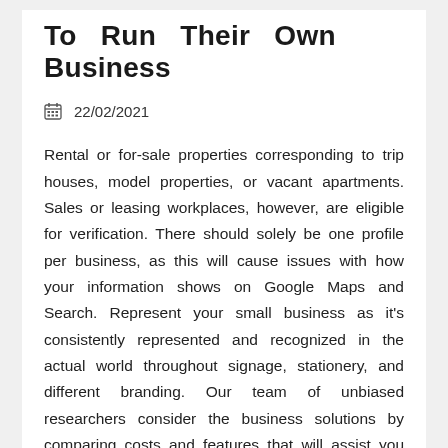To Run Their Own Business
22/02/2021
Rental or for-sale properties corresponding to trip houses, model properties, or vacant apartments. Sales or leasing workplaces, however, are eligible for verification. There should solely be one profile per business, as this will cause issues with how your information shows on Google Maps and Search. Represent your small business as it’s consistently represented and recognized in the actual world throughout signage, stationery, and different branding. Our team of unbiased researchers consider the business solutions by comparing costs and features that will assist you make smarter buying decisions.
To preserve high quality info on Google, follow this list